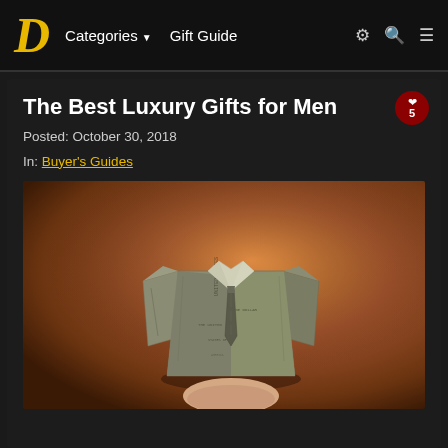D  Categories ▼  Gift Guide  ⚙ 🔍 ☰
The Best Luxury Gifts for Men
Posted: October 30, 2018
In: Buyer's Guides
[Figure (photo): A hand holding a dollar bill folded origami-style into the shape of a dress shirt with a tie, photographed against a warm orange-brown background.]